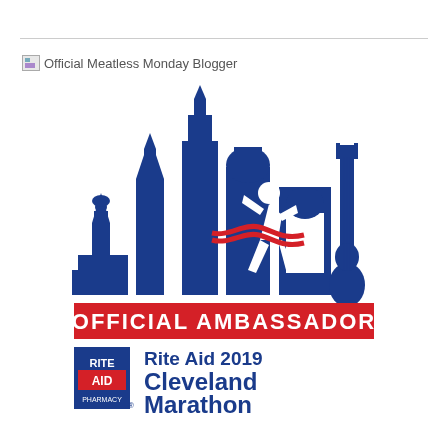Official Meatless Monday Blogger
[Figure (logo): Official Ambassador Rite Aid 2019 Cleveland Marathon logo featuring blue city skyline silhouette with runner breaking tape and guitar, red banner reading OFFICIAL AMBASSADOR, Rite Aid Pharmacy logo and text Rite Aid 2019 Cleveland Marathon]